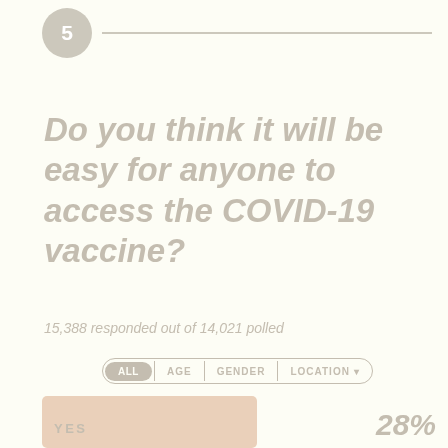5
Do you think it will be easy for anyone to access the COVID-19 vaccine?
15,388 responded out of 14,021 polled
ALL | AGE | GENDER | LOCATION
YES 28%